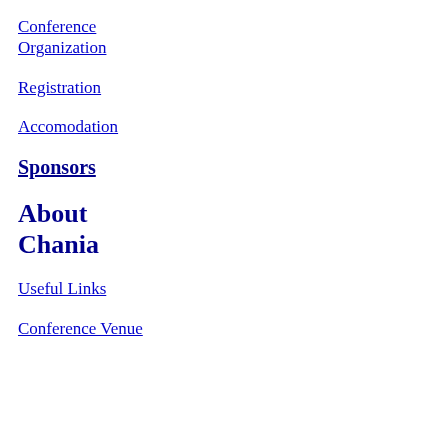Conference Organization
Registration
Accomodation
Sponsors
About Chania
Useful Links
Conference Venue